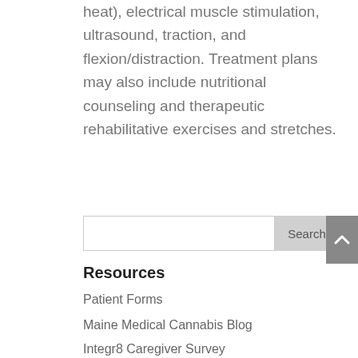heat), electrical muscle stimulation, ultrasound, traction, and flexion/distraction. Treatment plans may also include nutritional counseling and therapeutic rehabilitative exercises and stretches.
Search
Resources
Patient Forms
Maine Medical Cannabis Blog
Integr8 Caregiver Survey